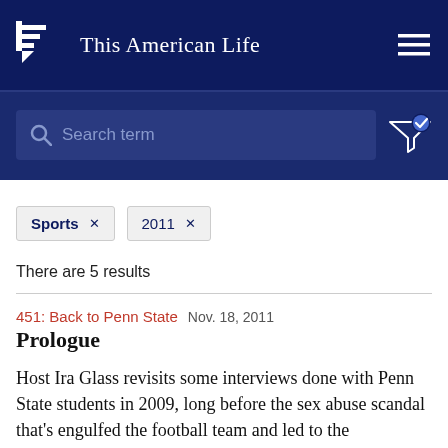This American Life
Search term
Sports × 2011 ×
There are 5 results
451: Back to Penn State  Nov. 18, 2011
Prologue
Host Ira Glass revisits some interviews done with Penn State students in 2009, long before the sex abuse scandal that's engulfed the football team and led to the resignation of its legendary coach, as well as the university's President